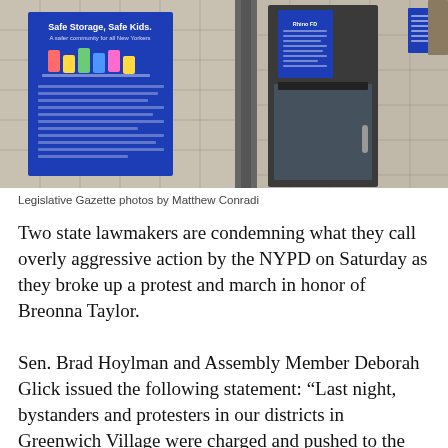[Figure (photo): Photo of a police precinct or public building entrance showing a blue 'Safe Storage, Safe Kids' poster on a tiled wall beside glass doors]
Legislative Gazette photos by Matthew Conradi
Two state lawmakers are condemning what they call overly aggressive action by the NYPD on Saturday as they broke up a protest and march in honor of Breonna Taylor.
Sen. Brad Hoylman and Assembly Member Deborah Glick issued the following statement: “Last night, bystanders and protesters in our districts in Greenwich Village were charged and pushed to the ground in a disturbing escalation of force by NYPD officers, which was unwarranted and